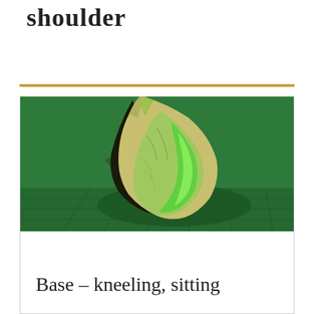shoulder
[Figure (illustration): 3D rendered image of a human torso/shoulder anatomy on a green background, showing muscular detail with dramatic lighting casting a shadow.]
Base – kneeling, sitting